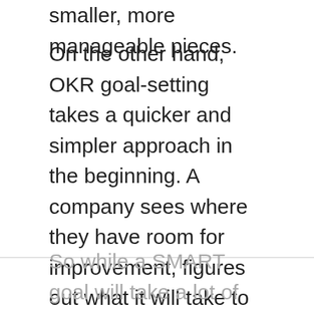smaller, more manageable pieces.
On the other hand, OKR goal-setting takes a quicker and simpler approach in the beginning. A company sees where they have room for improvement, figures out what it will take to get there, and implements the goal. This is an ongoing and flexible methodology that leaves room for experimentation and risks and failure along the way.
So while a SMART goal will take a lot of